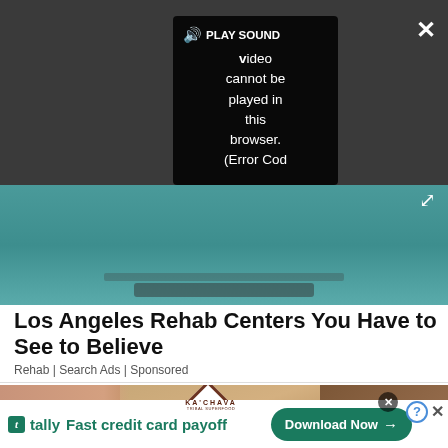[Figure (screenshot): Video player showing error overlay: speaker icon with PLAY SOUND label, then black box reading 'Video cannot be played in this browser. (Error Cod' - with close X and expand icons. Background shows teal/water image.]
Los Angeles Rehab Centers You Have to See to Believe
Rehab | Search Ads | Sponsored
[Figure (photo): Ka'Chava tribal superfood product bag with diamond-shaped logo and person's arm in background. Kraft paper bag with geometric pattern.]
[Figure (screenshot): Tally advertisement bar: Tally logo with 't' icon, text 'Fast credit card payoff', green Download Now button with arrow. Ad close controls with question mark circle and X buttons.]